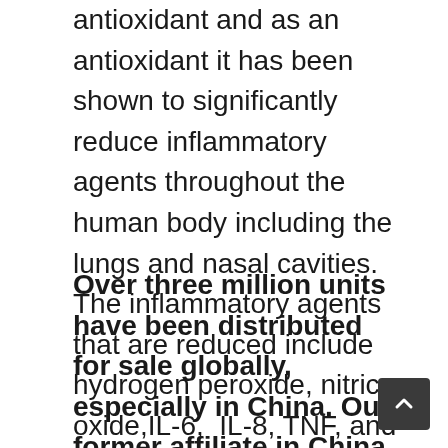antioxidant and as an antioxidant it has been shown to significantly reduce inflammatory agents throughout the human body including the lungs and nasal cavities. The inflammatory agents that are reduced include hydrogen peroxide, nitric oxide,IL-6,  IL-8, TNF, and other inflammatory agents produced by oxygen radicals.
Over three million units have been distributed for sale globally, especially in China. Our former affiliate in China has sold the Nasal spray to over 200+ hospitals and many Pharmacies. Three of the